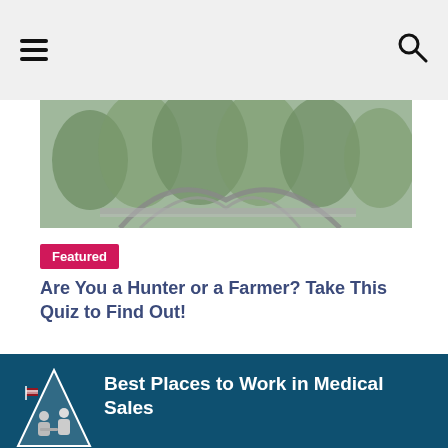≡  🔍
[Figure (photo): Photo of a bridge surrounded by trees]
Featured
Are You a Hunter or a Farmer? Take This Quiz to Find Out!
[Figure (logo): Triangle shaped logo with people working at a desk inside]
Best Places to Work in Medical Sales
Vote for medical sales' 2023 Best Places to Work!
Vote Now